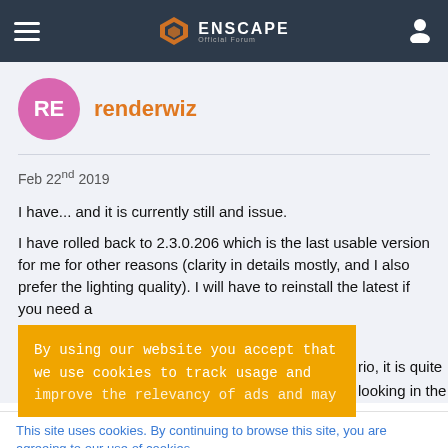Enscape Official Forum
renderwiz
Feb 22nd 2019
I have... and it is currently still and issue.
I have rolled back to 2.3.0.206 which is the last usable version for me for other reasons (clarity in details mostly, and I also prefer the lighting quality). I will have to reinstall the latest if you need a
[Figure (screenshot): Orange cookie consent overlay banner with text: By using our website you accept that we use cookies to track usage and improve the relevancy of ads and may...]
rio, it is quite looking in the
This site uses cookies. By continuing to browse this site, you are agreeing to our use of cookies.
More Details   Close